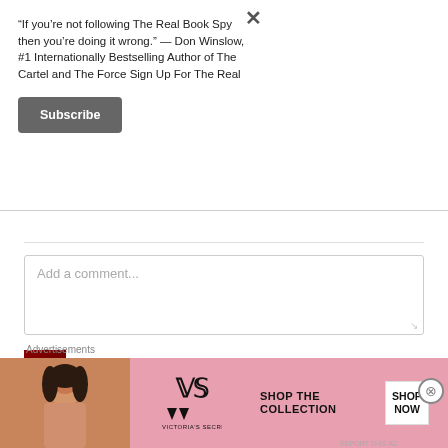“If you’re not following The Real Book Spy then you’re doing it wrong.” — Don Winslow, #1 Internationally Bestselling Author of The Cartel and The Force Sign Up For The Real
Subscribe
Add a comment...
Ana Petrook
[Figure (photo): Victoria's Secret advertisement banner showing a model, VS logo, 'SHOP THE COLLECTION' text, and 'SHOP NOW' button]
Advertisements